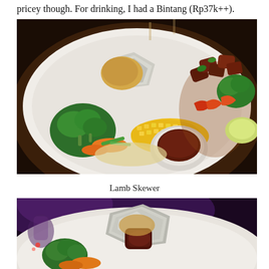pricey though. For drinking, I had a Bintang (Rp37k++).
[Figure (photo): A white plate with lamb skewers, vegetables (broccoli, carrots, green beans), corn, and a small white bowl of dark dipping sauce, shot in warm restaurant lighting.]
Lamb Skewer
[Figure (photo): Close-up of a white plate with lamb skewer pieces wrapped in foil at the top, broccoli and carrots visible, under purple ambient restaurant lighting.]